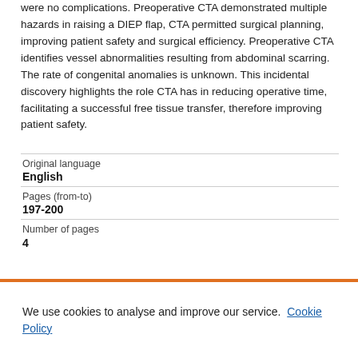were no complications. Preoperative CTA demonstrated multiple hazards in raising a DIEP flap, CTA permitted surgical planning, improving patient safety and surgical efficiency. Preoperative CTA identifies vessel abnormalities resulting from abdominal scarring. The rate of congenital anomalies is unknown. This incidental discovery highlights the role CTA has in reducing operative time, facilitating a successful free tissue transfer, therefore improving patient safety.
| Original language | English |
| Pages (from-to) | 197-200 |
| Number of pages | 4 |
We use cookies to analyse and improve our service. Cookie Policy